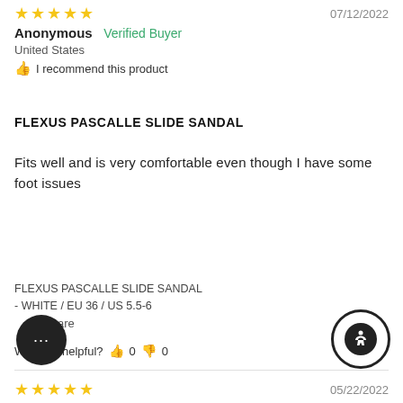★★★★★  07/12/2022
Anonymous  Verified Buyer
United States
👍 I recommend this product
FLEXUS PASCALLE SLIDE SANDAL
Fits well and is very comfortable even though I have some foot issues
FLEXUS PASCALLE SLIDE SANDAL
- WHITE / EU 36 / US 5.5-6
Share
Was this helpful? 👍 0 👎 0
★★★★★  05/22/2022